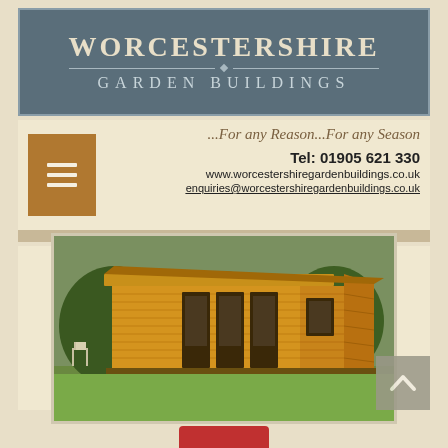WORCESTERSHIRE GARDEN BUILDINGS
...For any Reason...For any Season
Tel: 01905 621 330
www.worcestershiregardenbuildings.co.uk
enquiries@worcestershiregardenbuildings.co.uk
[Figure (photo): Photograph of a modern timber garden building/log cabin with flat roof, triple glazed doors in the centre, side window panels, set on a lawn with trees and fence in the background.]